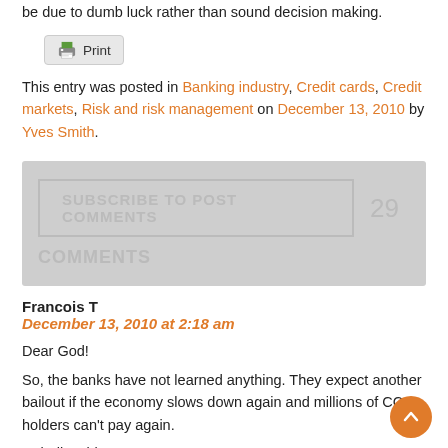be due to dumb luck rather than sound decision making.
[Figure (other): Print button with printer icon]
This entry was posted in Banking industry, Credit cards, Credit markets, Risk and risk management on December 13, 2010 by Yves Smith.
[Figure (other): Subscribe to Post Comments button with 29 comments count]
Francois T
December 13, 2010 at 2:18 am
Dear God!
So, the banks have not learned anything. They expect another bailout if the economy slows down again and millions of CC holders can't pay again.
Unbelievable!